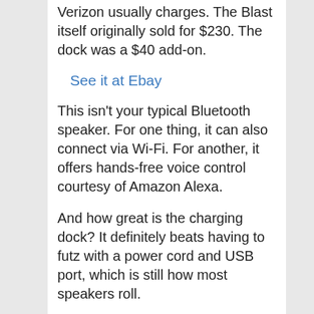Verizon usually charges. The Blast itself originally sold for $230. The dock was a $40 add-on.
See it at Ebay
This isn't your typical Bluetooth speaker. For one thing, it can also connect via Wi-Fi. For another, it offers hands-free voice control courtesy of Amazon Alexa.
And how great is the charging dock? It definitely beats having to futz with a power cord and USB port, which is still how most speakers roll.